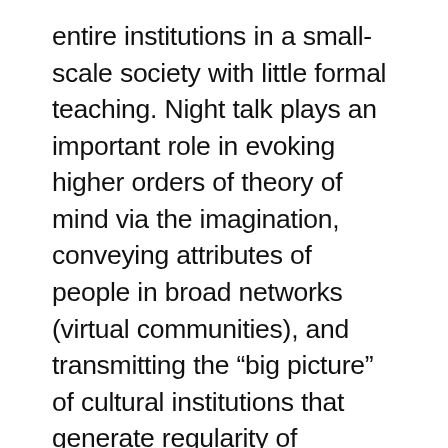entire institutions in a small-scale society with little formal teaching. Night talk plays an important role in evoking higher orders of theory of mind via the imagination, conveying attributes of people in broad networks (virtual communities), and transmitting the “big picture” of cultural institutions that generate regularity of behavior, cooperation, and trust at the regional level. Findings from the Ju/’hoan are compared with other hunter-gatherer societies and related to the widespread human use of firelight for intimate conversation and our appetite for evening stories. The question is raised as to what happens when economically unproductive firelit time is turned to productive time by artificial lighting.